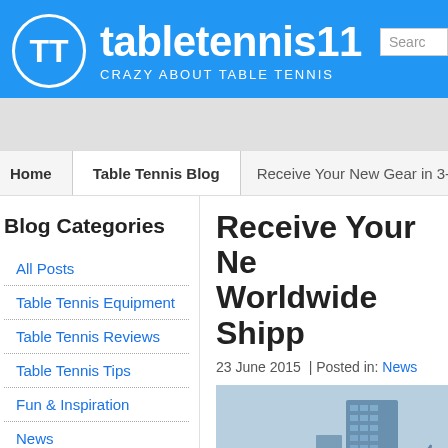tabletennis11 — CRAZY ABOUT TABLE TENNIS
Home | Table Tennis Blog | Receive Your New Gear in 3-5 Days w...
Blog Categories
All Posts
Table Tennis Equipment
Table Tennis Reviews
Table Tennis Tips
Fun & Inspiration
News
Receive Your New Gear in 3-5 Days w... Worldwide Shipp...
23 June 2015  | Posted in: News
[Figure (photo): City skyline photo with skyscraper building and waterfront]